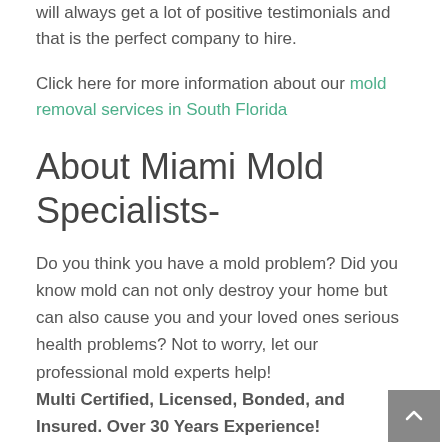will always get a lot of positive testimonials and that is the perfect company to hire.
Click here for more information about our mold removal services in South Florida
About Miami Mold Specialists-
Do you think you have a mold problem? Did you know mold can not only destroy your home but can also cause you and your loved ones serious health problems? Not to worry, let our professional mold experts help! Multi Certified, Licensed, Bonded, and Insured. Over 30 Years Experience!
Call- 1-305-763-8070